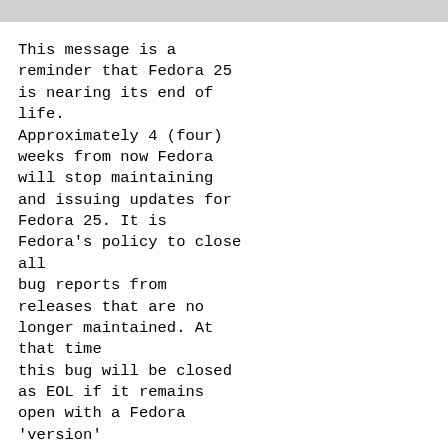This message is a reminder that Fedora 25 is nearing its end of life.
Approximately 4 (four) weeks from now Fedora will stop maintaining and issuing updates for Fedora 25. It is Fedora's policy to close all bug reports from releases that are no longer maintained. At that time this bug will be closed as EOL if it remains open with a Fedora 'version' of '25'.

Package Maintainer: If you wish for this bug to remain open because you plan to fix it in a currently maintained version, simply change the 'version' to a future Fedora